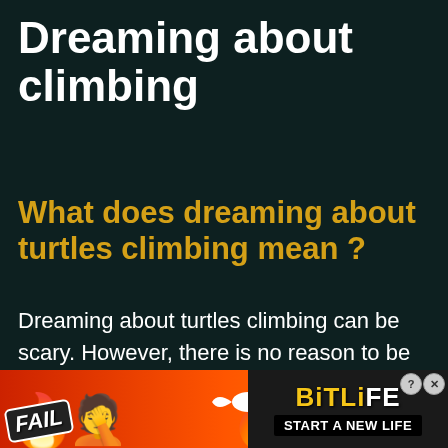Dreaming about climbing
What does dreaming about turtles climbing mean ?
Dreaming about turtles climbing can be scary. However, there is no reason to be worry. In order to better appreciate your dream of turtles climbing, it is...
[Figure (other): Advertisement banner for BitLife mobile game showing 'FAIL' text, facepalm emoji, flames, sperm logo, and 'START A NEW LIFE' text on dark and red-orange gradient background]